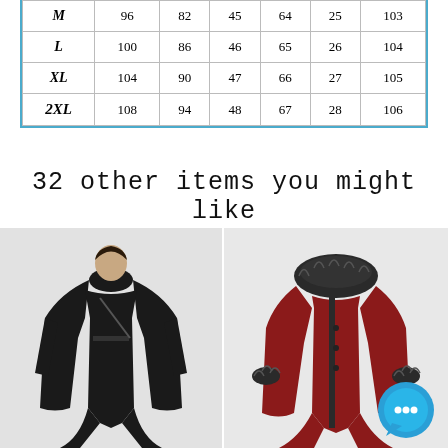|  |  |  |  |  |  |  |
| --- | --- | --- | --- | --- | --- | --- |
| M | 96 | 82 | 45 | 64 | 25 | 103 |
| L | 100 | 86 | 46 | 65 | 26 | 104 |
| XL | 104 | 90 | 47 | 66 | 27 | 105 |
| 2XL | 108 | 94 | 48 | 67 | 28 | 106 |
32 other items you might like
[Figure (photo): Black gothic long coat on a model, full length, dark fashion style]
[Figure (photo): Red and black long coat with fur collar and fur cuffs, rear view, with chat button overlay]